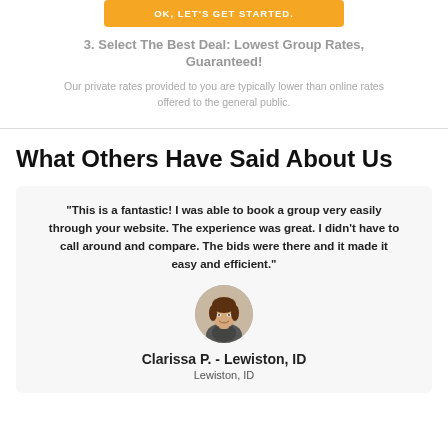OK, LET'S GET STARTED.
3. Select The Best Deal: Lowest Group Rates, Guaranteed!
Our private rates provided to you are typically lower than online rates offered to the general public.
What Others Have Said About Us
"This is a fantastic! I was able to book a group very easily through your website. The experience was great. I didn't have to call around and compare. The bids were there and it made it easy and efficient."
[Figure (photo): Circular portrait photo of a woman (Clarissa P.) from Lewiston, ID]
Clarissa P. - Lewiston, ID
Lewiston, ID